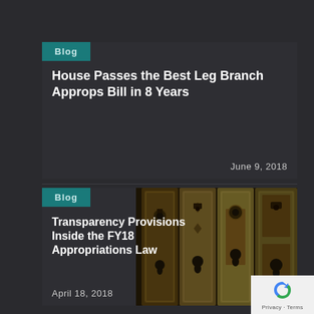Blog
House Passes the Best Leg Branch Approps Bill in 8 Years
June 9, 2018
Blog
[Figure (photo): Photograph of antique brass door lock mechanisms/escutcheons with keyholes, multiple decorative locks in a row with dark metallic tones]
Transparency Provisions Inside the FY18 Appropriations Law
April 18, 2018